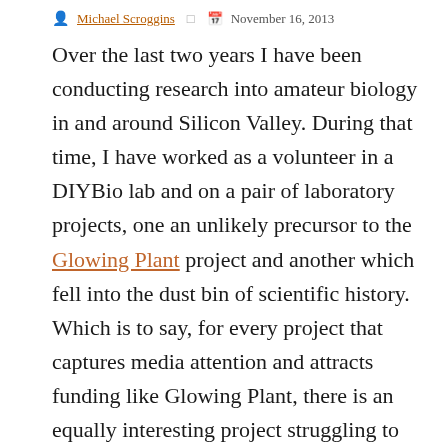Michael Scroggins  November 16, 2013
Over the last two years I have been conducting research into amateur biology in and around Silicon Valley. During that time, I have worked as a volunteer in a DIYBio lab and on a pair of laboratory projects, one an unlikely precursor to the Glowing Plant project and another which fell into the dust bin of scientific history. Which is to say, for every project that captures media attention and attracts funding like Glowing Plant, there is an equally interesting project struggling to generate interest and find collaborators. With that in mind, I want to discuss some of the tensions within DIYbio laid bare by success of the